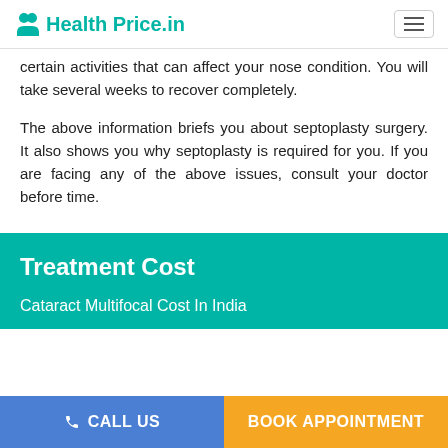Health Price.in
certain activities that can affect your nose condition. You will take several weeks to recover completely.
The above information briefs you about septoplasty surgery. It also shows you why septoplasty is required for you. If you are facing any of the above issues, consult your doctor before time.
Treatment Cost
Cataract Multifocal Cost In India
CALL US   BOOK APPOINTMENT